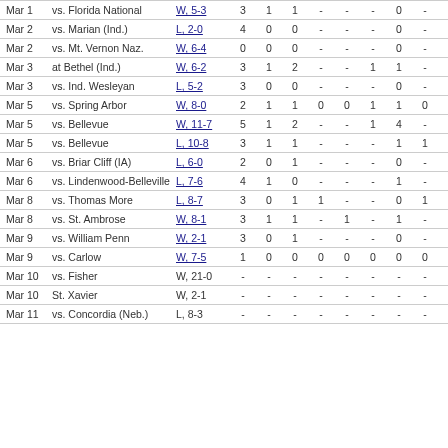| Date | Opponent | Result | c1 | c2 | c3 | c4 | c5 | c6 | c7 | c8 | c9 | c10 |
| --- | --- | --- | --- | --- | --- | --- | --- | --- | --- | --- | --- | --- |
| Mar 1 | vs. Florida National | W, 5-3 | 3 | 1 | 1 | - | - | - | 0 | - | 1 | - |
| Mar 2 | vs. Marian (Ind.) | L, 2-0 | 4 | 0 | 0 | - | - | - | 0 | - | 1 | - |
| Mar 2 | vs. Mt. Vernon Naz. | W, 6-4 | 0 | 0 | 0 | - | - | - | 0 | - | - | - |
| Mar 3 | at Bethel (Ind.) | W, 6-2 | 3 | 1 | 2 | - | - | 1 | 1 | - | - | - |
| Mar 3 | vs. Ind. Wesleyan | L, 5-2 | 3 | 0 | 0 | - | - | - | 0 | - | - | - |
| Mar 5 | vs. Spring Arbor | W, 8-0 | 2 | 1 | 1 | 0 | 0 | 1 | 1 | 0 | 0 | 0 |
| Mar 5 | vs. Bellevue | W, 11-7 | 5 | 1 | 2 | - | - | 1 | 4 | - | 1 | - |
| Mar 5 | vs. Bellevue | L, 10-8 | 3 | 1 | 1 | - | - | - | 1 | 1 | 1 | - |
| Mar 6 | vs. Briar Cliff (IA) | L, 6-0 | 2 | 0 | 1 | - | - | - | 0 | - | 1 | - |
| Mar 6 | vs. Lindenwood-Belleville | L, 7-6 | 4 | 1 | 0 | - | - | - | 1 | - | 2 | - |
| Mar 8 | vs. Thomas More | L, 8-7 | 3 | 0 | 1 | 1 | - | - | 0 | 1 | - | - |
| Mar 8 | vs. St. Ambrose | W, 8-1 | 3 | 1 | 1 | - | 1 | - | 1 | - | - | - |
| Mar 9 | vs. William Penn | W, 2-1 | 3 | 0 | 1 | - | - | - | 0 | - | - | - |
| Mar 9 | vs. Carlow | W, 7-5 | 1 | 0 | 0 | 0 | 0 | 0 | 0 | 0 | 1 | 0 |
| Mar 10 | vs. Fisher | W, 21-0 | - | - | - | - | - | - | - | - | - | - |
| Mar 10 | St. Xavier | W, 2-1 | - | - | - | - | - | - | - | - | - | - |
| Mar 11 | vs. Concordia (Neb.) | L, 8-3 | - | - | - | - | - | - | - | - | - | - |